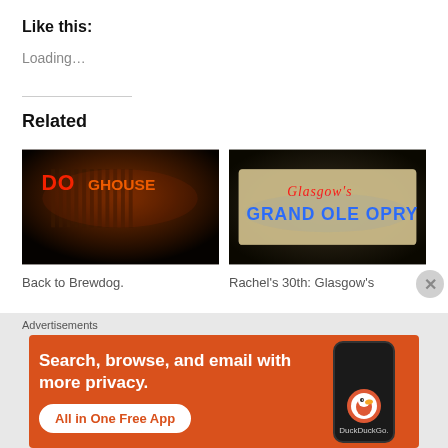Like this:
Loading…
Related
[Figure (photo): Dark neon sign reading DOGHOUSE in red/orange letters against a dark background with warm lighting]
Back to Brewdog.
[Figure (photo): Neon sign reading Glasgow's GRAND OLE OPRY in blue and red neon letters]
Rachel's 30th: Glasgow's
Advertisements
[Figure (infographic): DuckDuckGo advertisement on orange background: Search, browse, and email with more privacy. All in One Free App. Shows a smartphone with DuckDuckGo logo.]